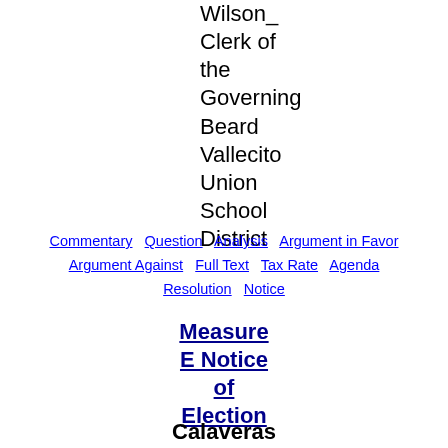Wilson_
Clerk of
the
Governing
Beard
Vallecito
Union
School
District
Commentary  Question  Analysis  Argument in Favor
Argument Against  Full Text  Tax Rate  Agenda
Resolution  Notice
Measure E Notice of Election
Calaveras County